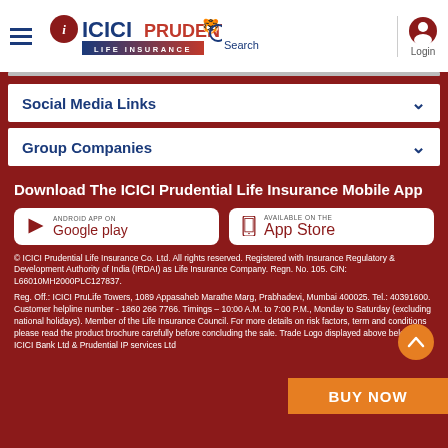ICICI Prudential Life Insurance - Search - Login
Social Media Links
Group Companies
Download The ICICI Prudential Life Insurance Mobile App
[Figure (screenshot): Google Play Store download button]
[Figure (screenshot): Apple App Store download button]
© ICICI Prudential Life Insurance Co. Ltd. All rights reserved. Registered with Insurance Regulatory & Development Authority of India (IRDAI) as Life Insurance Company. Regn. No. 105. CIN: L66010MH2000PLC127837.
Reg. Off.: ICICI PruLife Towers, 1089 Appasaheb Marathe Marg, Prabhadevi, Mumbai 400025. Tel.: 40391600. Customer helpline number - 1860 266 7766. Timings – 10:00 A.M. to 7:00 P.M., Monday to Saturday (excluding national holidays). Member of the Life Insurance Council. For more details on risk factors, term and conditions please read the product brochure carefully before concluding the sale. Trade Logo displayed above belongs to ICICI Bank Ltd & Prudential IP services Ltd